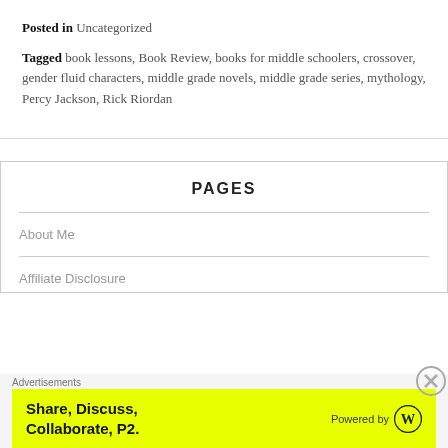Posted in Uncategorized
Tagged book lessons, Book Review, books for middle schoolers, crossover, gender fluid characters, middle grade novels, middle grade series, mythology, Percy Jackson, Rick Riordan
PAGES
About Me
Affiliate Disclosure
Advertisements
[Figure (infographic): Advertisement banner with yellow background: 'Share, Discuss, Collaborate, P2.' Powered by WordPress logo]